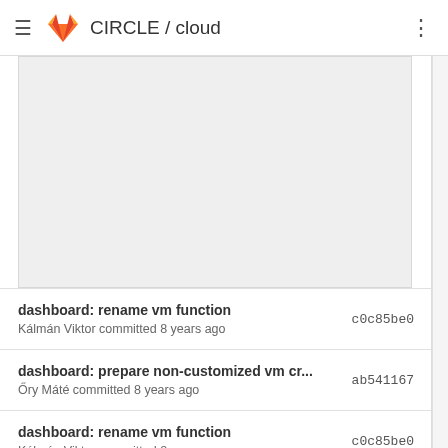CIRCLE / cloud
[Figure (screenshot): Empty gray content block area]
dashboard: rename vm function  c0c85be0
Kálmán Viktor committed 8 years ago
dashboard: prepare non-customized vm cr...  ab541167
Őry Máté committed 8 years ago
dashboard: rename vm function  c0c85be0
Kálmán Viktor committed 8 years ago